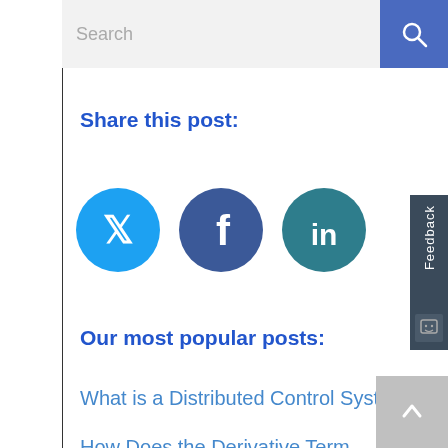[Figure (screenshot): Search bar with text input field (light gray) and blue search button with magnifying glass icon]
Share this post:
[Figure (infographic): Three social media sharing icons: Twitter (light blue circle), Facebook (dark blue circle), LinkedIn (teal circle)]
Our most popular posts:
What is a Distributed Control System?
How Does the Derivative Term